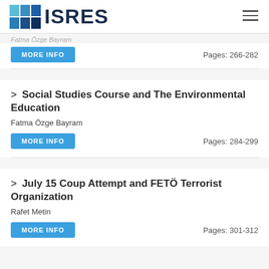ISRES
Fatma Özge Bayram (partial author, truncated at top)
MORE INFO   Pages: 266-282
> Social Studies Course and The Environmental Education
Fatma Özge Bayram
MORE INFO   Pages: 284-299
> July 15 Coup Attempt and FETÖ Terrorist Organization
Rafet Metin
MORE INFO   Pages: 301-312